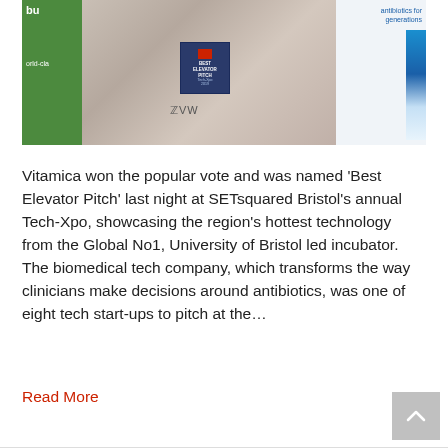[Figure (photo): Three people standing together at an event; the middle person holds a blue award trophy labeled 'Best Elevator Pitch'. Background includes a green panel on the left and a white/blue branded panel on the right.]
Vitamica won the popular vote and was named ‘Best Elevator Pitch’ last night at SETsquared Bristol’s annual Tech-Xpo, showcasing the region’s hottest technology from the Global No1, University of Bristol led incubator. The biomedical tech company, which transforms the way clinicians make decisions around antibiotics, was one of eight tech start-ups to pitch at the…
Read More